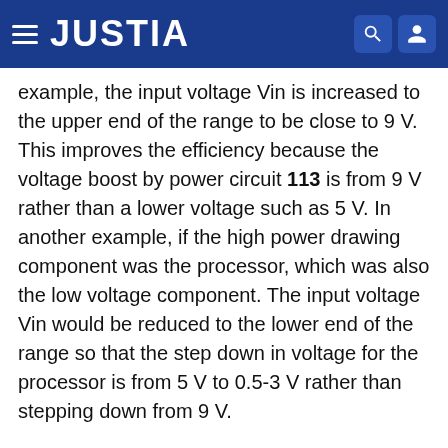JUSTIA
example, the input voltage Vin is increased to the upper end of the range to be close to 9 V. This improves the efficiency because the voltage boost by power circuit 113 is from 9 V rather than a lower voltage such as 5 V. In another example, if the high power drawing component was the processor, which was also the low voltage component. The input voltage Vin would be reduced to the lower end of the range so that the step down in voltage for the processor is from 5 V to 0.5-3 V rather than stepping down from 9 V.
The above description illustrates various embodiments of the present disclosure along with examples of how aspects of the particular embodiments may be implemented. The above examples should not be deemed to be the only embodiments, and are presented to illustrate the flexibility and advantages of the